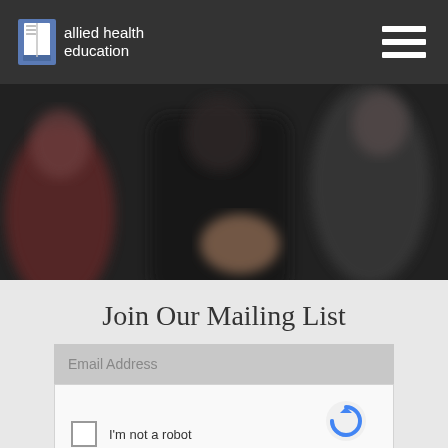allied health education
[Figure (photo): Blurred background photo of people in a dark setting, one person with an open hand gesture]
Join Our Mailing List
Email Address
[Figure (screenshot): reCAPTCHA widget with checkbox 'I'm not a robot' and reCAPTCHA logo with Privacy and Terms links]